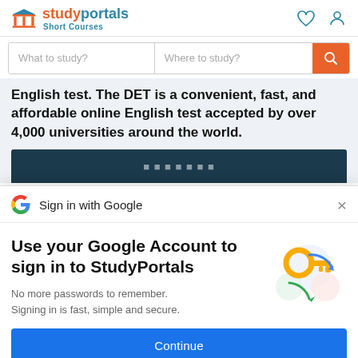[Figure (logo): StudyPortals Short Courses logo with pillar icon, 'study' in orange, 'portals' in blue, 'Short Courses' subtitle in blue]
[Figure (screenshot): Heart and person icons in the header top right]
[Figure (screenshot): Search bar with 'What to study?' and 'Where to study?' fields and orange search button]
English test. The DET is a convenient, fast, and affordable online English test accepted by over 4,000 universities around the world.
[Figure (screenshot): Dark teal button bar partially visible at bottom of content area]
[Figure (screenshot): Google 'G' logo icon in Sign in with Google header]
Sign in with Google
Use your Google Account to sign in to StudyPortals
No more passwords to remember.
Signing in is fast, simple and secure.
[Figure (illustration): Colorful illustration of a key with circular arrows and shapes representing Google account security]
[Figure (screenshot): Blue Continue button]